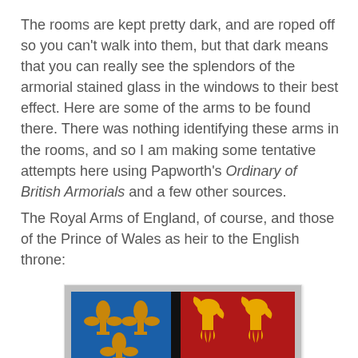The rooms are kept pretty dark, and are roped off so you can't walk into them, but that dark means that you can really see the splendors of the armorial stained glass in the windows to their best effect. Here are some of the arms to be found there. There was nothing identifying these arms in the rooms, and so I am making some tentative attempts here using Papworth's Ordinary of British Armorials and a few other sources.
The Royal Arms of England, of course, and those of the Prince of Wales as heir to the English throne:
[Figure (photo): Photograph of armorial stained glass window showing four quartered panels: upper left with gold fleur-de-lis on blue, upper right with gold lions passant on red, lower left continuing fleur-de-lis, lower right with more heraldic animals. Heavy black lead lines divide the panels.]